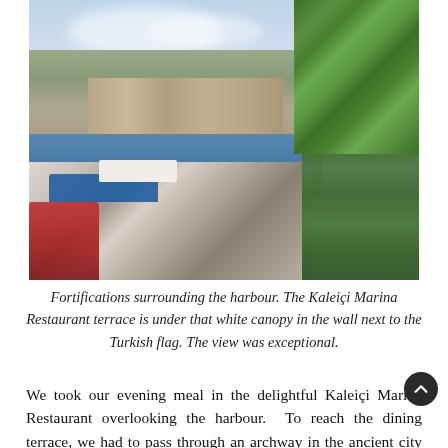[Figure (photo): Aerial/elevated view of Kaleiçi harbour in Antalya, Turkey. Boats and yachts moored in the marina, ancient stone fortification walls visible in the background along with white and terracotta buildings, palm trees prominent on the right side.]
Fortifications surrounding the harbour. The Kaleiçi Marina Restaurant terrace is under that white canopy in the wall next to the Turkish flag. The view was exceptional.
We took our evening meal in the delightful Kaleiçi Marina Restaurant overlooking the harbour. To reach the dining terrace, we had to pass through an archway in the ancient city wall, and going to the loo